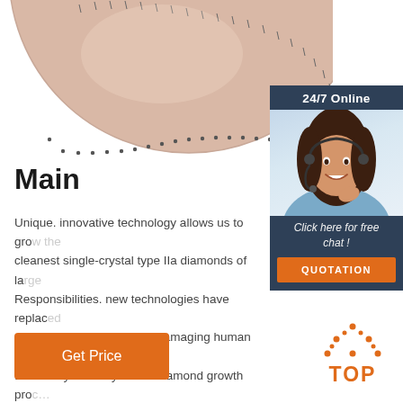[Figure (photo): Partial view of a round pinkish-beige single-crystal diamond disc with dotted measurement markings along its edge, cropped at top.]
[Figure (photo): 24/7 Online chat widget showing a smiling woman with headset, 'Click here for free chat!' text, and an orange QUOTATION button, against a dark blue background.]
Main
Unique. innovative technology allows us to grow the cleanest single-crystal type IIa diamonds of la... Responsibilities. new technologies have replaced equipment and processes damaging human h... the eco system. Dynamic. diamond growth pro... daily improved to be always a step ahead. Flexibility.
[Figure (logo): Orange 'TOP' logo with dotted triangle/arch above the text]
Get Price